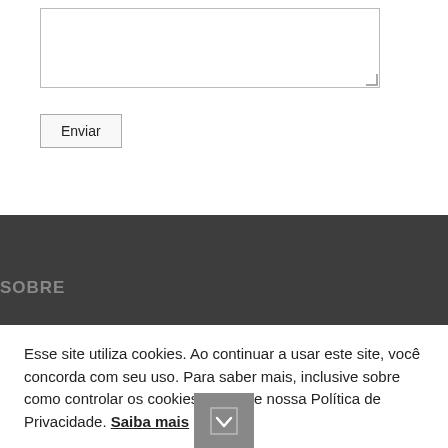[Figure (screenshot): A textarea input box (form element) with a resize handle in the bottom-right corner, white background with a light gray border.]
Enviar
SOBRE
Esse site utiliza cookies. Ao continuar a usar este site, você concorda com seu uso. Para saber mais, inclusive sobre como controlar os cookies, consulte nossa Política de Privacidade. Saiba mais
Ok, entendi!